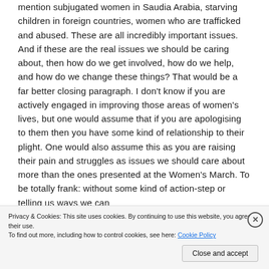mention subjugated women in Saudia Arabia, starving children in foreign countries, women who are trafficked and abused. These are all incredibly important issues. And if these are the real issues we should be caring about, then how do we get involved, how do we help, and how do we change these things? That would be a far better closing paragraph. I don't know if you are actively engaged in improving those areas of women's lives, but one would assume that if you are apologising to them then you have some kind of relationship to their plight. One would also assume this as you are raising their pain and struggles as issues we should care about more than the ones presented at the Women's March. To be totally frank: without some kind of action-step or telling us ways we can
Privacy & Cookies: This site uses cookies. By continuing to use this website, you agree to their use.
To find out more, including how to control cookies, see here: Cookie Policy
Close and accept